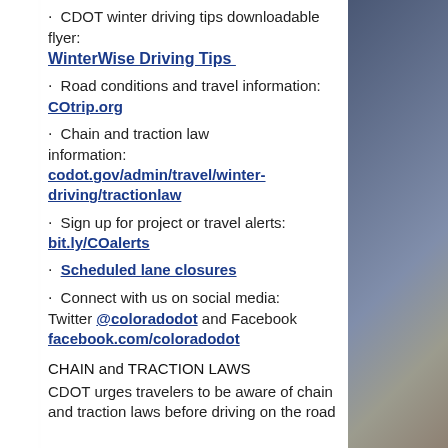CDOT winter driving tips downloadable flyer: WinterWise Driving Tips
Road conditions and travel information: COtrip.org
Chain and traction law information: codot.gov/admin/travel/winter-driving/tractionlaw
Sign up for project or travel alerts: bit.ly/COalerts
Scheduled lane closures
Connect with us on social media: Twitter @coloradodot and Facebook facebook.com/coloradodot
CHAIN and TRACTION LAWS
CDOT urges travelers to be aware of chain and traction laws before driving on the road